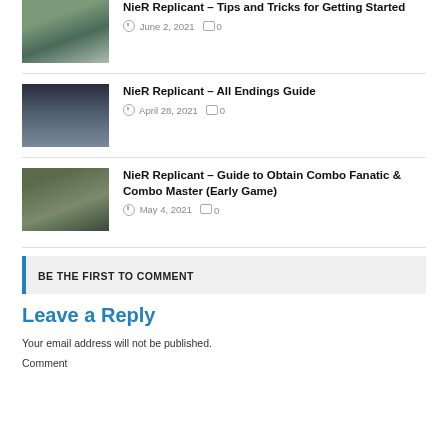[Figure (photo): Thumbnail image for NieR Replicant Tips and Tricks article, showing a mountain landscape scene]
NieR Replicant – Tips and Tricks for Getting Started
June 2, 2021   0
[Figure (photo): Thumbnail image for NieR Replicant All Endings Guide, showing a dark ruined scene]
NieR Replicant – All Endings Guide
April 28, 2021   0
[Figure (photo): Thumbnail image for NieR Replicant Combo Fanatic & Combo Master guide, showing a character in ruins]
NieR Replicant – Guide to Obtain Combo Fanatic & Combo Master (Early Game)
May 4, 2021   0
BE THE FIRST TO COMMENT
Leave a Reply
Your email address will not be published.
Comment